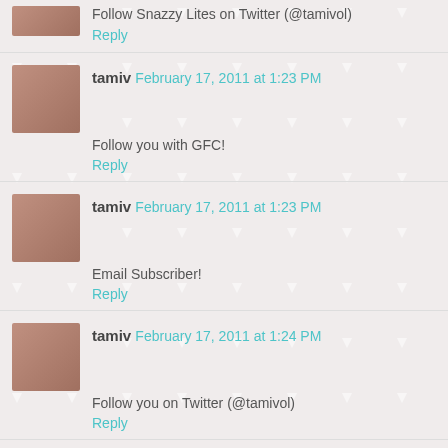Follow Snazzy Lites on Twitter (@tamivol)
Reply
tamiv  February 17, 2011 at 1:23 PM
Follow you with GFC!
Reply
tamiv  February 17, 2011 at 1:23 PM
Email Subscriber!
Reply
tamiv  February 17, 2011 at 1:24 PM
Follow you on Twitter (@tamivol)
Reply
tamiv  February 17, 2011 at 1:25 PM